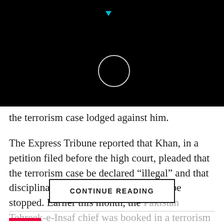[Figure (screenshot): Black overlay with loading circle and cyan triangle indicator at top]
the terrorism case lodged against him.
The Express Tribune reported that Khan, in a petition filed before the high court, pleaded that the terrorism case be declared “illegal” and that disciplinary action against him should be stopped. Earlier this month, the Pakistan Tehreek-e-Insaf chief was booked in a terrorism case on the complaint of Islamabad Saddar Magistrate Ali Javed for threatening the additional session’s judge of
CONTINUE READING